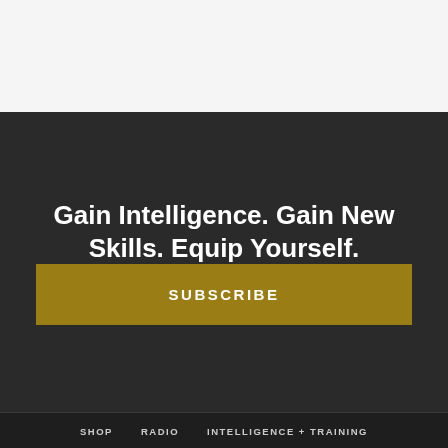Gain Intelligence. Gain New Skills. Equip Yourself.
SUBSCRIBE
SHOP   RADIO   INTELLIGENCE + TRAINING